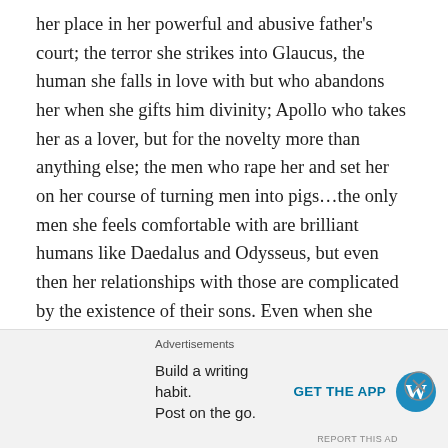her place in her powerful and abusive father's court; the terror she strikes into Glaucus, the human she falls in love with but who abandons her when she gifts him divinity; Apollo who takes her as a lover, but for the novelty more than anything else; the men who rape her and set her on her course of turning men into pigs…the only men she feels comfortable with are brilliant humans like Daedalus and Odysseus, but even then her relationships with those are complicated by the existence of their sons. Even when she seems to achieve a degree of freedom, it is always the result of having to bargain with the male world, I suppose that you could argue that that's the system that every woman operates within but even when Penelope
Advertisements
Build a writing habit. Post on the go.
GET THE APP